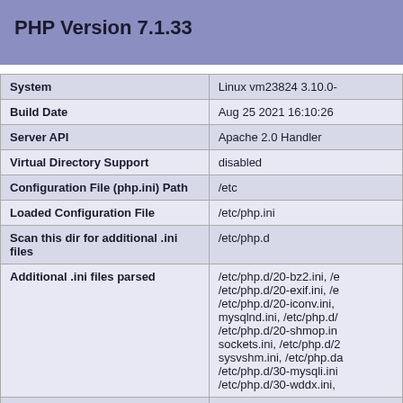PHP Version 7.1.33
|  |  |
| --- | --- |
| System | Linux vm23824 3.10.0- |
| Build Date | Aug 25 2021 16:10:26 |
| Server API | Apache 2.0 Handler |
| Virtual Directory Support | disabled |
| Configuration File (php.ini) Path | /etc |
| Loaded Configuration File | /etc/php.ini |
| Scan this dir for additional .ini files | /etc/php.d |
| Additional .ini files parsed | /etc/php.d/20-bz2.ini, /e /etc/php.d/20-exif.ini, /e /etc/php.d/20-iconv.ini, mysqlnd.ini, /etc/php.d/ /etc/php.d/20-shmop.in sockets.ini, /etc/php.d/2 sysvshm.ini, /etc/php.da /etc/php.d/30-mysqli.ini /etc/php.d/30-wddx.ini, |
| PHP API | 20160303 |
| PHP Extension | 20160303 |